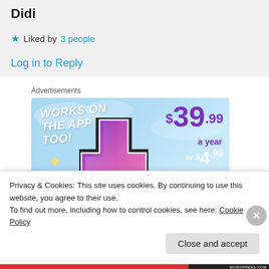Didi
★ Liked by 3 people
Log in to Reply
Advertisements
[Figure (infographic): Tumblr advertisement banner with blue sky background, showing 'WORKS ON THE APP TOO!' text, Tumblr logo, price $39.99 a year or $4.99 a month + FREE SHIPPING]
Privacy & Cookies: This site uses cookies. By continuing to use this website, you agree to their use.
To find out more, including how to control cookies, see here: Cookie Policy
Close and accept